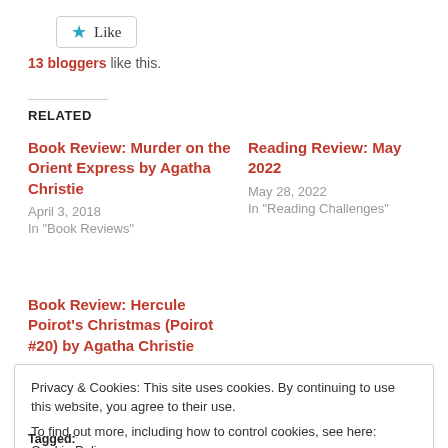Like
13 bloggers like this.
RELATED
Book Review: Murder on the Orient Express by Agatha Christie
April 3, 2018
In "Book Reviews"
Reading Review: May 2022
May 28, 2022
In "Reading Challenges"
Book Review: Hercule Poirot's Christmas (Poirot #20) by Agatha Christie
January 22, 2020
Privacy & Cookies: This site uses cookies. By continuing to use this website, you agree to their use.
To find out more, including how to control cookies, see here: Cookie Policy
Close and accept
Tagged: